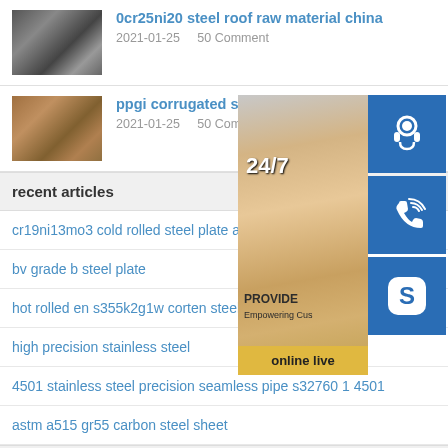[Figure (photo): Steel plates/sheets stacked, dark metallic appearance]
0cr25ni20 steel roof raw material china
2021-01-25    50 Comment
[Figure (photo): Steel plates/sheets stacked, brownish appearance]
ppgi corrugated sheets galvalum
2021-01-25    50 Comment
[Figure (photo): Overlay: 24/7 service panel with customer support agent photo, phone icon, Skype icon, online live button]
recent articles
cr19ni13mo3 cold rolled steel plate a36
bv grade b steel plate
hot rolled en s355k2g1w corten steel plate who
high precision stainless steel
4501 stainless steel precision seamless pipe s32760 1 4501
astm a515 gr55 carbon steel sheet
Navigation